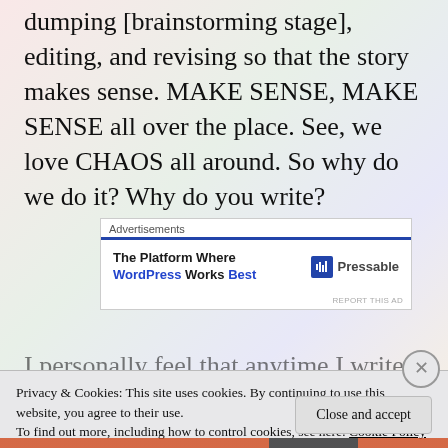dumping [brainstorming stage], editing, and revising so that the story makes sense. MAKE SENSE, MAKE SENSE all over the place. See, we love CHAOS all around. So why do we do it? Why do you write?
[Figure (screenshot): Advertisement box for Pressable WordPress hosting, showing blue header bar, bold text 'The Platform Where WordPress Works Best' and Pressable logo on white background]
I personally feel that anytime I write anything
Privacy & Cookies: This site uses cookies. By continuing to use this website, you agree to their use.
To find out more, including how to control cookies, see here: Cookie Policy
Close and accept